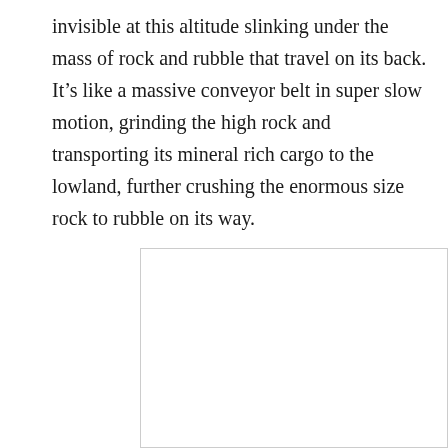invisible at this altitude slinking under the mass of rock and rubble that travel on its back. It's like a massive conveyor belt in super slow motion, grinding the high rock and transporting its mineral rich cargo to the lowland, further crushing the enormous size rock to rubble on its way.
[Figure (photo): A partially visible image box with a white interior and light gray border, appearing to show a photograph that extends beyond the page boundary.]